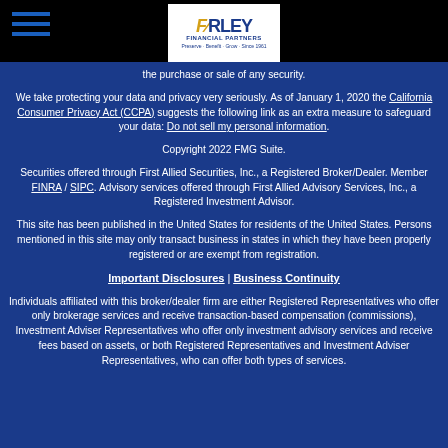[Figure (logo): Farley Financial Partners logo with navigation hamburger menu on black header bar]
the purchase or sale of any security.
We take protecting your data and privacy very seriously. As of January 1, 2020 the California Consumer Privacy Act (CCPA) suggests the following link as an extra measure to safeguard your data: Do not sell my personal information.
Copyright 2022 FMG Suite.
Securities offered through First Allied Securities, Inc., a Registered Broker/Dealer. Member FINRA / SIPC. Advisory services offered through First Allied Advisory Services, Inc., a Registered Investment Advisor.
This site has been published in the United States for residents of the United States. Persons mentioned in this site may only transact business in states in which they have been properly registered or are exempt from registration.
Important Disclosures | Business Continuity
Individuals affiliated with this broker/dealer firm are either Registered Representatives who offer only brokerage services and receive transaction-based compensation (commissions), Investment Adviser Representatives who offer only investment advisory services and receive fees based on assets, or both Registered Representatives and Investment Adviser Representatives, who can offer both types of services.